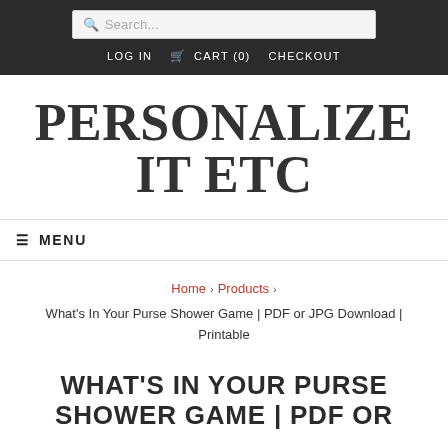Search... LOG IN  CART (0)  CHECKOUT
PERSONALIZE IT ETC
☰ MENU
Home › Products › What's In Your Purse Shower Game | PDF or JPG Download | Printable
WHAT'S IN YOUR PURSE SHOWER GAME | PDF OR